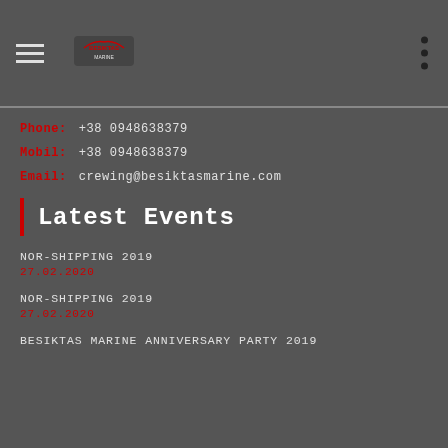Besiktas Marine navigation header with hamburger menu, logo, and dots menu
Phone: +38 0948638379
Mobil: +38 0948638379
Email: crewing@besiktasmarine.com
Latest Events
NOR-SHIPPING 2019
27.02.2020
NOR-SHIPPING 2019
27.02.2020
BESIKTAS MARINE ANNIVERSARY PARTY 2019